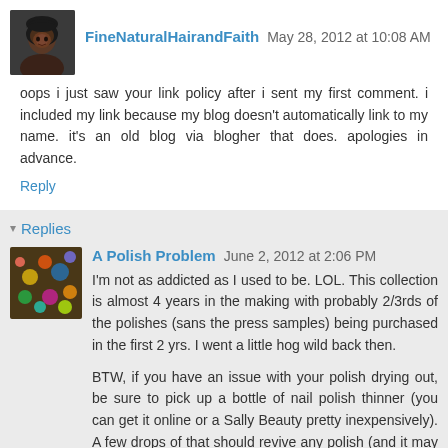[Figure (photo): Avatar photo of FineNaturalHairandFaith — person with dark curly hair]
FineNaturalHairandFaith May 28, 2012 at 10:08 AM
oops i just saw your link policy after i sent my first comment. i included my link because my blog doesn't automatically link to my name. it's an old blog via blogher that does. apologies in advance.
Reply
Replies
[Figure (photo): Avatar photo of A Polish Problem — colorful glittery nail polish]
A Polish Problem June 2, 2012 at 2:06 PM
I'm not as addicted as I used to be. LOL. This collection is almost 4 years in the making with probably 2/3rds of the polishes (sans the press samples) being purchased in the first 2 yrs. I went a little hog wild back then.
BTW, if you have an issue with your polish drying out, be sure to pick up a bottle of nail polish thinner (you can get it online or a Sally Beauty pretty inexpensively). A few drops of that should revive any polish (and it may take a lot more to